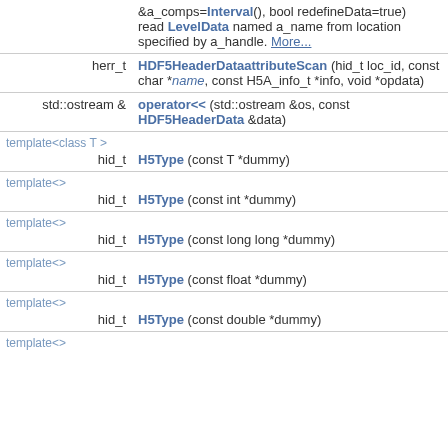| return type | function signature |
| --- | --- |
|  | &a_comps=Interval(), bool redefineData=true) read LevelData named a_name from location specified by a_handle. More... |
| herr_t | HDF5HeaderDataattributeScan (hid_t loc_id, const char *name, const H5A_info_t *info, void *opdata) |
| std::ostream & | operator<< (std::ostream &os, const HDF5HeaderData &data) |
| template<class T > |  |
| hid_t | H5Type (const T *dummy) |
| template<> |  |
| hid_t | H5Type (const int *dummy) |
| template<> |  |
| hid_t | H5Type (const long long *dummy) |
| template<> |  |
| hid_t | H5Type (const float *dummy) |
| template<> |  |
| hid_t | H5Type (const double *dummy) |
| template<> |  |